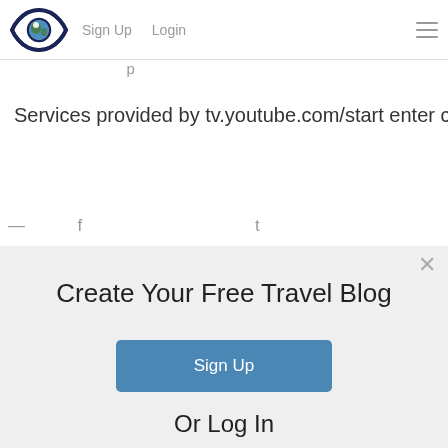[Figure (logo): Eye-shaped logo with globe/earth inside, dark navy outline]
Sign Up   Login   ≡
Services provided by tv.youtube.com/start enter code
Create Your Free Travel Blog
Sign Up
Or Log In
Log In